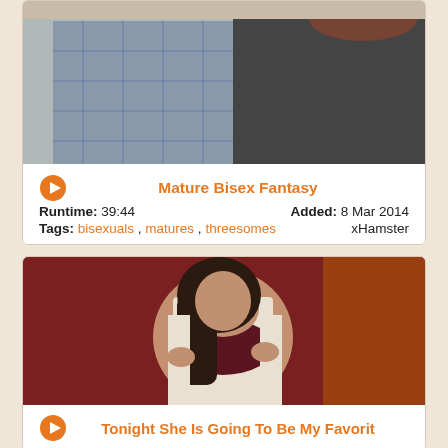[Figure (photo): Thumbnail image of two people from behind, one in a plaid shirt, one in dark clothing with reddish hair]
Mature Bisex Fantasy
Runtime: 39:44    Added: 8 Mar 2014
Tags: bisexuals , matures , threesomes    xHamster
[Figure (photo): Young woman with long dark hair, posing in open white shirt revealing lingerie top, red background]
Tonight She Is Going To Be My Favorit